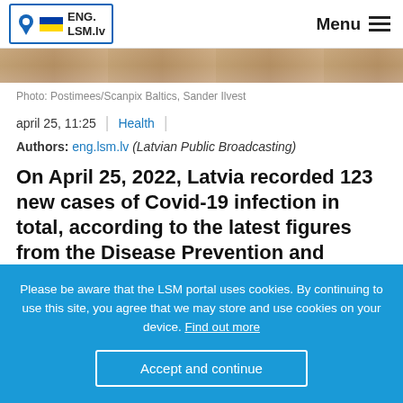ENG.LSM.lv | Menu
[Figure (photo): Partial photograph of a person, warm tones, blurred background]
Photo: Postimees/Scanpix Baltics, Sander Ilvest
april 25, 11:25 | Health
Authors: eng.lsm.lv (Latvian Public Broadcasting)
On April 25, 2022, Latvia recorded 123 new cases of Covid-19 infection in total, according to the latest figures from the Disease Prevention and Control Center (SPKC).
Please be aware that the LSM portal uses cookies. By continuing to use this site, you agree that we may store and use cookies on your device. Find out more
Accept and continue